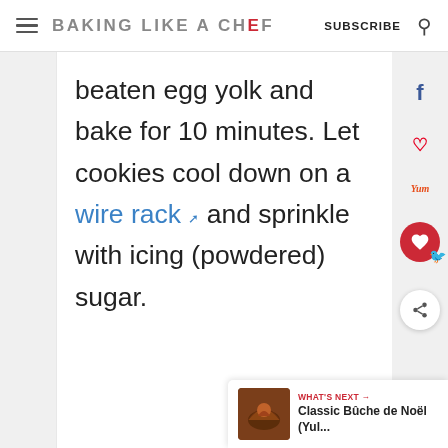BAKING LIKE A CHEF  SUBSCRIBE
beaten egg yolk and bake for 10 minutes. Let cookies cool down on a wire rack and sprinkle with icing (powdered) sugar.
WHAT'S NEXT → Classic Bûche de Noël (Yul...